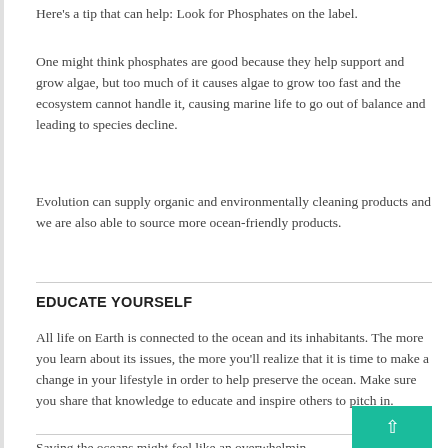Here’s a tip that can help: Look for Phosphates on the label.
One might think phosphates are good because they help support and grow algae, but too much of it causes algae to grow too fast and the ecosystem cannot handle it, causing marine life to go out of balance and leading to species decline.
Evolution can supply organic and environmentally cleaning products and we are also able to source more ocean-friendly products.
EDUCATE YOURSELF
All life on Earth is connected to the ocean and its inhabitants. The more you learn about its issues, the more you’ll realize that it is time to make a change in your lifestyle in order to help preserve the ocean. Make sure you share that knowledge to educate and inspire others to pitch in.
Saving the oceans might feel like an overwhelming… but if